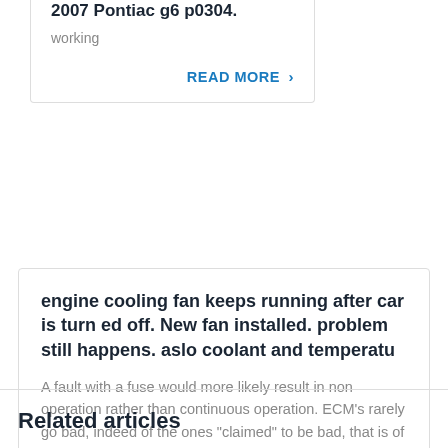2007 Pontiac g6 p0304.
working
READ MORE >
engine cooling fan keeps running after car is turn ed off. New fan installed. problem still happens. aslo coolant and temperatu
A fault with a fuse would more likely result in non operation rather than continuous operation. ECM's rarely go bad, indeed of the ones "claimed" to be bad, that is of those sent in as warranty returns, based on surveys...
READ MORE >
Related articles